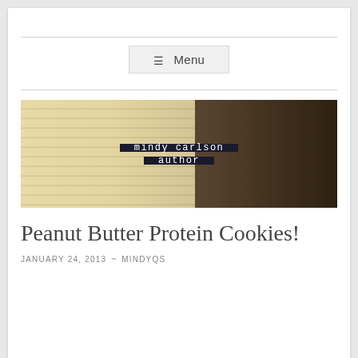Menu
[Figure (illustration): Blog header banner image showing an open notebook with lined pages on the left and a dark wooden surface with a coffee cup on the right. Two dark rectangular labels read 'mindy carlson' and 'author' in monospace text.]
Peanut Butter Protein Cookies!
JANUARY 24, 2013 ~ MINDYQS